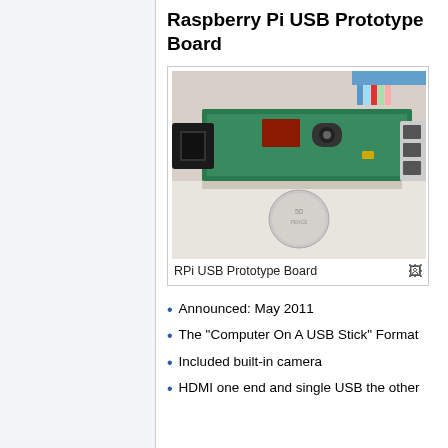Raspberry Pi USB Prototype Board
[Figure (photo): Photograph of the Raspberry Pi USB Prototype Board, a small circuit board with a built-in camera module, shown next to a 50 pence coin for scale. The board has a USB connector on the left end and USB ports on the right, with colorful ribbon cables visible at the top.]
RPi USB Prototype Board
Announced: May 2011
The "Computer On A USB Stick" Format
Included built-in camera
HDMI one end and single USB the other